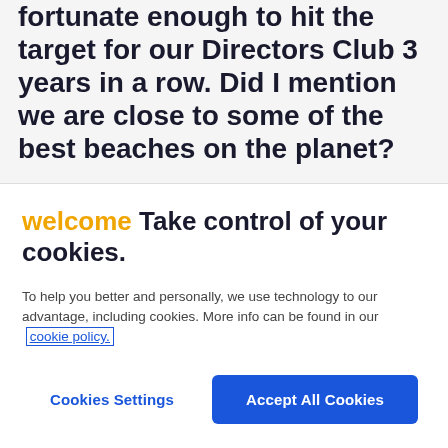fortunate enough to hit the target for our Directors Club 3 years in a row. Did I mention we are close to some of the best beaches on the planet?
welcome Take control of your cookies.
To help you better and personally, we use technology to our advantage, including cookies. More info can be found in our cookie policy.
Cookies Settings
Accept All Cookies